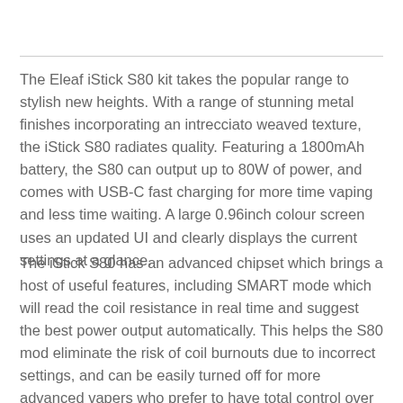The Eleaf iStick S80 kit takes the popular range to stylish new heights. With a range of stunning metal finishes incorporating an intrecciato weaved texture, the iStick S80 radiates quality. Featuring a 1800mAh battery, the S80 can output up to 80W of power, and comes with USB-C fast charging for more time vaping and less time waiting. A large 0.96inch colour screen uses an updated UI and clearly displays the current settings at a glance.
The iStick S80 has an advanced chipset which brings a host of useful features, including SMART mode which will read the coil resistance in real time and suggest the best power output automatically. This helps the S80 mod eliminate the risk of coil burnouts due to incorrect settings, and can be easily turned off for more advanced vapers who prefer to have total control over